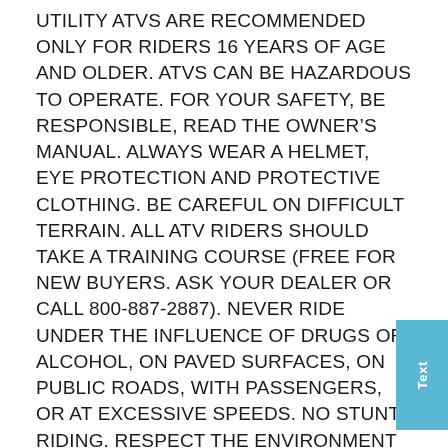UTILITY ATVs ARE RECOMMENDED ONLY FOR RIDERS 16 YEARS OF AGE AND OLDER. ATVs CAN BE HAZARDOUS TO OPERATE. FOR YOUR SAFETY, BE RESPONSIBLE, READ THE OWNER'S MANUAL. ALWAYS WEAR A HELMET, EYE PROTECTION AND PROTECTIVE CLOTHING. BE CAREFUL ON DIFFICULT TERRAIN. ALL ATV RIDERS SHOULD TAKE A TRAINING COURSE (FREE FOR NEW BUYERS. ASK YOUR DEALER OR CALL 800-887-2887). NEVER RIDE UNDER THE INFLUENCE OF DRUGS OR ALCOHOL, ON PAVED SURFACES, ON PUBLIC ROADS, WITH PASSENGERS, OR AT EXCESSIVE SPEEDS. NO STUNT RIDING. RESPECT THE ENVIRONMENT WHEN RIDING. FourTrax and Foreman are registered trademarks of Honda Motor Co., Ltd.
Due to continued challenges across supplier networks as well as increasing logistics costs, product pricing, freight charges, specifications, and features are subject to change at any time without prior notice. Please confirm all information with your local dealership.